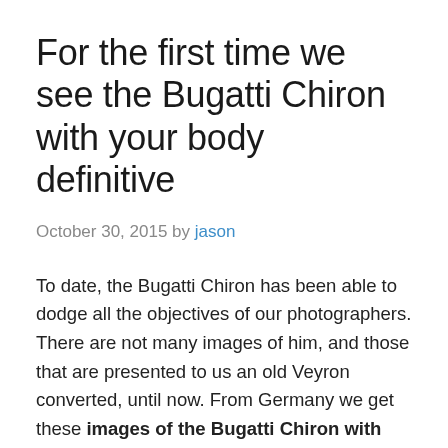For the first time we see the Bugatti Chiron with your body definitive
October 30, 2015 by jason
To date, the Bugatti Chiron has been able to dodge all the objectives of our photographers. There are not many images of him, and those that are presented to us an old Veyron converted, until now. From Germany we get these images of the Bugatti Chiron with your body definitive.